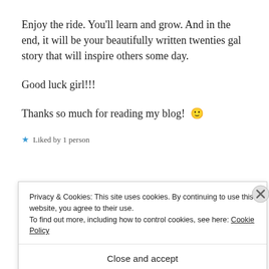Enjoy the ride. You'll learn and grow. And in the end, it will be your beautifully written twenties gal story that will inspire others some day.
Good luck girl!!!
Thanks so much for reading my blog! 🙂
★ Liked by 1 person
Privacy & Cookies: This site uses cookies. By continuing to use this website, you agree to their use.
To find out more, including how to control cookies, see here: Cookie Policy
Close and accept